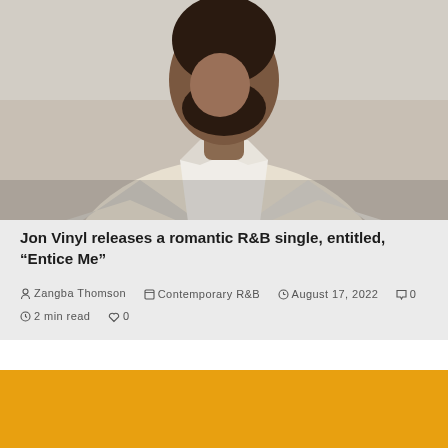[Figure (photo): Portrait photo of a person wearing a white/cream jacket, face partially visible, neutral background]
Jon Vinyl releases a romantic R&B single, entitled, “Entice Me”
Zangba Thomson  Contemporary R&B  August 17, 2022  0  2 min read  0
[Figure (photo): Solid orange/amber colored rectangle, likely an album cover or promotional image]